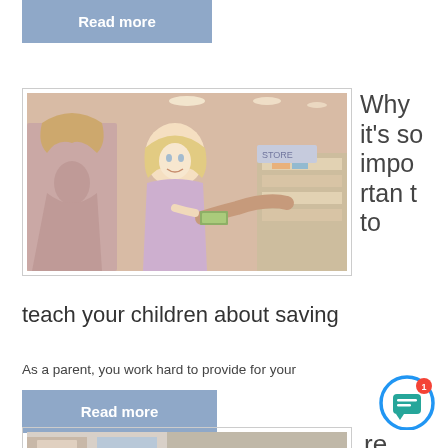[Figure (other): Blue/grey 'Read more' button at the top of the page]
[Figure (photo): Photo of a young blonde girl smiling at a checkout counter with adults handing over money, in a store setting]
Why it's so important to teach your children about saving
As a parent, you work hard to provide for your
[Figure (other): Blue/grey 'Read more' button below the article excerpt]
[Figure (photo): Partial photo of a store shelf/aisle, partially obscured by a chat widget]
re